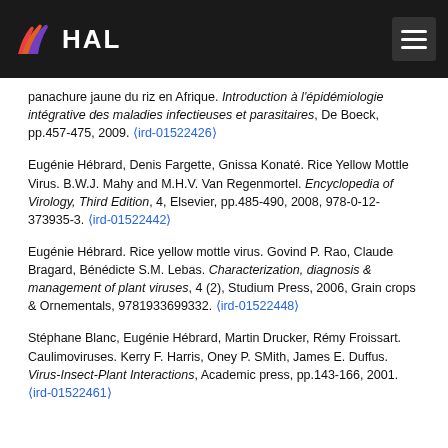HAL
panachure jaune du riz en Afrique. Introduction à l'épidémiologie intégrative des maladies infectieuses et parasitaires, De Boeck, pp.457-475, 2009. ⟨ird-01522426⟩
Eugénie Hébrard, Denis Fargette, Gnissa Konaté. Rice Yellow Mottle Virus. B.W.J. Mahy and M.H.V. Van Regenmortel. Encyclopedia of Virology, Third Edition, 4, Elsevier, pp.485-490, 2008, 978-0-12-373935-3. ⟨ird-01522442⟩
Eugénie Hébrard. Rice yellow mottle virus. Govind P. Rao, Claude Bragard, Bénédicte S.M. Lebas. Characterization, diagnosis & management of plant viruses, 4 (2), Studium Press, 2006, Grain crops & Ornementals, 9781933699332. ⟨ird-01522448⟩
Stéphane Blanc, Eugénie Hébrard, Martin Drucker, Rémy Froissart. Caulimoviruses. Kerry F. Harris, Oney P. SMith, James E. Duffus. Virus-Insect-Plant Interactions, Academic press, pp.143-166, 2001. ⟨ird-01522461⟩